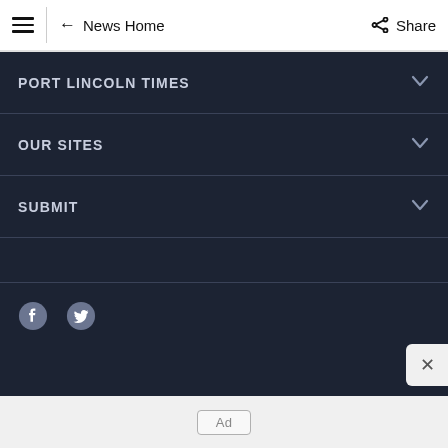News Home | Share
PORT LINCOLN TIMES
OUR SITES
SUBMIT
[Figure (other): Facebook and Twitter social media icons at the bottom of a dark navigation panel]
Ad